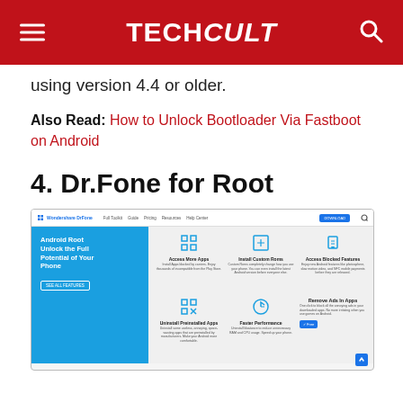TECHCult
using version 4.4 or older.
Also Read: How to Unlock Bootloader Via Fastboot on Android
4. Dr.Fone for Root
[Figure (screenshot): Screenshot of the Wondershare Dr.Fone website showing Android Root page with features: Access More Apps, Install Custom Roms, Access Blocked Features, Uninstall Preinstalled Apps, Faster Performance, Remove Ads In Apps]